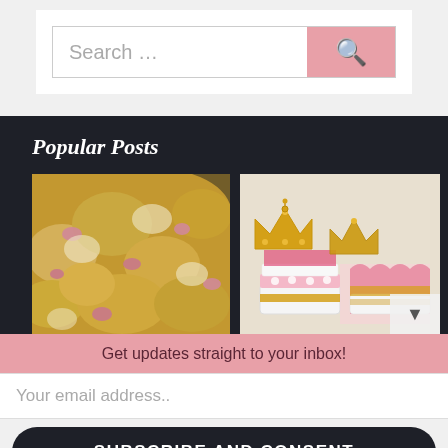Search …
Popular Posts
[Figure (photo): Close-up photo of cheesy pasta dish with ham/bacon pieces]
[Figure (photo): Gold crown decorations on layered pink and white diaper cake with pink shredded paper filling]
Get updates straight to your inbox!
Your email address..
SUBSCRIBE AND CONSENT